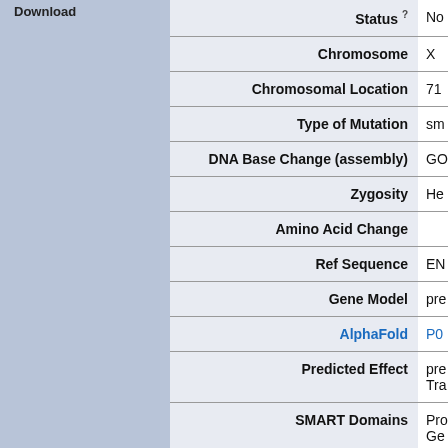| Field | Value |
| --- | --- |
| Status (?) | No |
| Chromosome | X |
| Chromosomal Location | 71 |
| Type of Mutation | sm |
| DNA Base Change (assembly) | GO |
| Zygosity | He |
| Amino Acid Change |  |
| Ref Sequence | EN |
| Gene Model | pre |
| AlphaFold | P0 |
| Predicted Effect | pre
Tra |
| SMART Domains | Pro
Ge |